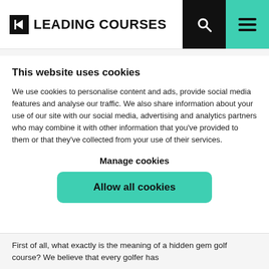LEADING COURSES
This website uses cookies
We use cookies to personalise content and ads, provide social media features and analyse our traffic. We also share information about your use of our site with our social media, advertising and analytics partners who may combine it with other information that you’ve provided to them or that they’ve collected from your use of their services.
Manage cookies
Allow all cookies
First of all, what exactly is the meaning of a hidden gem golf course? We believe that every golfer has